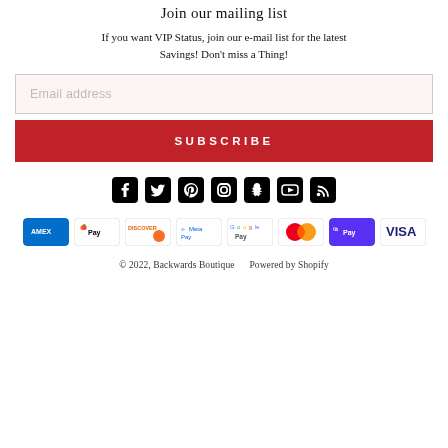Join our mailing list
If you want VIP Status, join our e-mail list for the latest Savings! Don't miss a Thing!
[Figure (other): Email address input field with light pink background]
[Figure (other): Red SUBSCRIBE button]
[Figure (other): Social media icons row: Facebook, Twitter, Pinterest, Instagram, Snapchat, YouTube, RSS]
[Figure (other): Payment method icons: American Express, Apple Pay, Discover, Meta Pay, Google Pay, Mastercard, Shop Pay, Visa]
© 2022, Backwards Boutique    Powered by Shopify